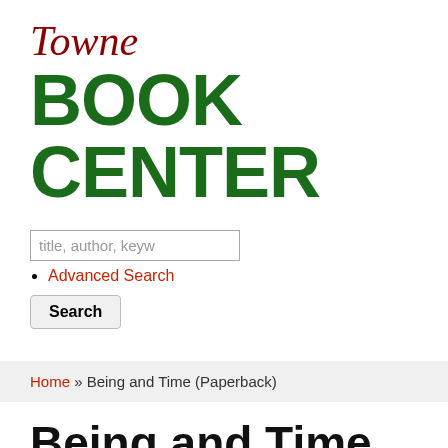Towne BOOK CENTER
title, author, keyw
Advanced Search
Search
Home » Being and Time (Paperback)
Being and Time (Paperback)